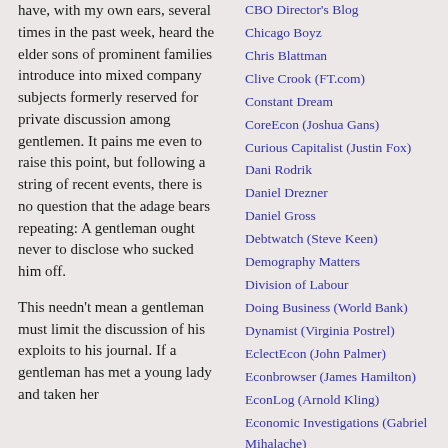have, with my own ears, several times in the past week, heard the elder sons of prominent families introduce into mixed company subjects formerly reserved for private discussion among gentlemen. It pains me even to raise this point, but following a string of recent events, there is no question that the adage bears repeating: A gentleman ought never to disclose who sucked him off.
This needn't mean a gentleman must limit the discussion of his exploits to his journal. If a gentleman has met a young lady and taken her
CBO Director's Blog
Chicago Boyz
Chris Blattman
Clive Crook (FT.com)
Constant Dream
CoreEcon (Joshua Gans)
Curious Capitalist (Justin Fox)
Dani Rodrik
Daniel Drezner
Daniel Gross
Debtwatch (Steve Keen)
Demography Matters
Division of Labour
Doing Business (World Bank)
Dynamist (Virginia Postrel)
EclectEcon (John Palmer)
Econbrowser (James Hamilton)
EconLog (Arnold Kling)
Economic Investigations (Gabriel Mihalache)
Economic Logic
Economic Principals
Economics